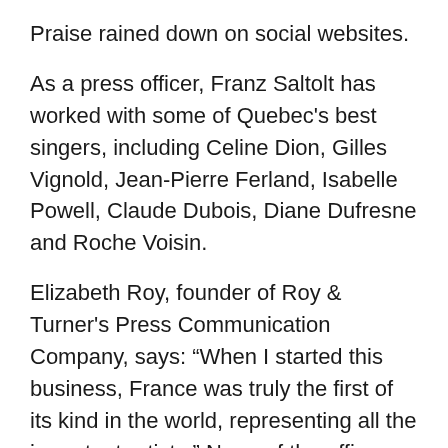Praise rained down on social websites.
As a press officer, Franz Saltolt has worked with some of Quebec's best singers, including Celine Dion, Gilles Vignold, Jean-Pierre Ferland, Isabelle Powell, Claude Dubois, Diane Dufresne and Roche Voisin.
Elizabeth Roy, founder of Roy & Turner's Press Communication Company, says: “When I started this business, France was truly the first of its kind in the world, representing all the important artists.” None of the officers of the Salolt newspaper in France. ??
“What made her such a beautiful model was that she was a very bright, very beautiful, very passionate, very dedicated woman, and had an unconditional affection for the artists and producers she worked with.”Me Roy.